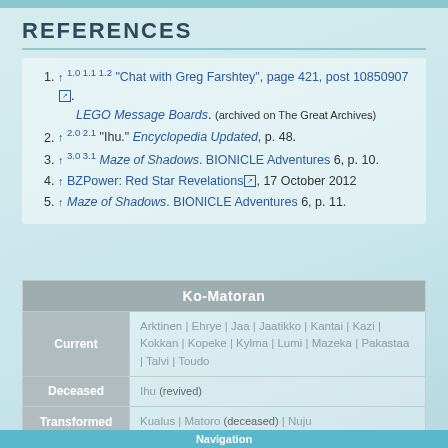REFERENCES
↑ 1.0 1.1 1.2 "Chat with Greg Farshtey", page 421, post 10850907. LEGO Message Boards. (archived on The Great Archives)
↑ 2.0 2.1 "Ihu." Encyclopedia Updated, p. 48.
↑ 3.0 3.1 Maze of Shadows. BIONICLE Adventures 6, p. 10.
↑ BZPower: Red Star Revelations, 17 October 2012
↑ Maze of Shadows. BIONICLE Adventures 6, p. 11.
| Ko-Matoran |
| --- |
| Current | Arktinen | Ehrye | Jaa | Jaatikko | Kantai | Kazi | Kokkan | Kopeke | Kylma | Lumi | Mazeka | Pakastaa | Talvi | Toudo |
| Deceased | Ihu (revived) |
| Transformed | Kualus | Matoro (deceased) | Nuju |
| see full list |  |